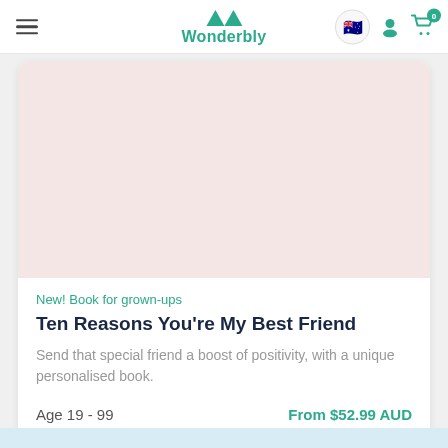Wonderbly
[Figure (illustration): Pink/blush background book preview image area for 'Ten Reasons You're My Best Friend']
New! Book for grown-ups
Ten Reasons You're My Best Friend
Send that special friend a boost of positivity, with a unique personalised book.
Age 19 - 99
From $52.99 AUD